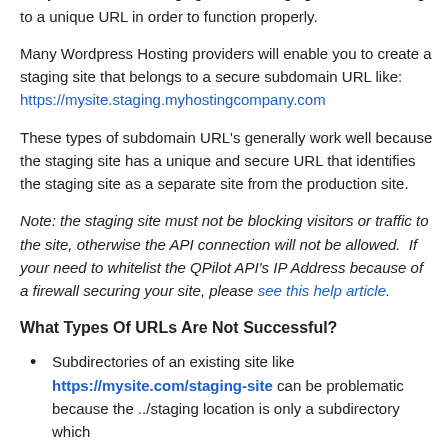In the case of testing an API connection or Integrated 3rd Party service with a staging site, the staging site must belong to a unique URL in order to function properly.
Many Wordpress Hosting providers will enable you to create a staging site that belongs to a secure subdomain URL like: https://mysite.staging.myhostingcompany.com
These types of subdomain URL's generally work well because the staging site has a unique and secure URL that identifies the staging site as a separate site from the production site.
Note: the staging site must not be blocking visitors or traffic to the site, otherwise the API connection will not be allowed. If your need to whitelist the QPilot API's IP Address because of a firewall securing your site, please see this help article.
What Types Of URLs Are Not Successful?
Subdirectories of an existing site like https://mysite.com/staging-site can be problematic because the ../staging location is only a subdirectory which